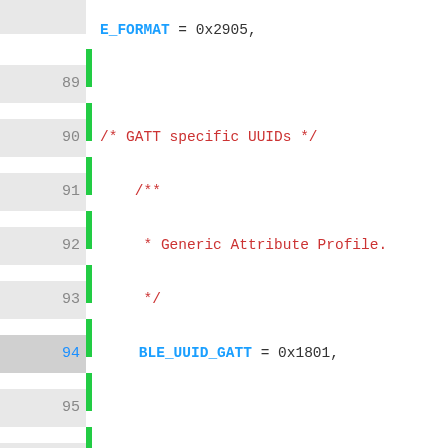[Figure (screenshot): Code editor screenshot showing C/C++ BLE UUID enum definitions, lines 89-101+, with line numbers, green change indicators on lines 94 and 99, syntax highlighting (blue for identifiers, red for comments, grey for values). An 'Important Information for this Arm website' cookie consent overlay partially covers the lower portion of the code.]